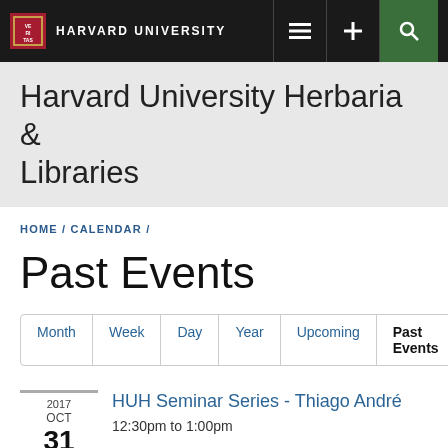HARVARD UNIVERSITY
Harvard University Herbaria & Libraries
HOME / CALENDAR /
Past Events
Month | Week | Day | Year | Upcoming | Past Events
2017 OCT 31 — HUH Seminar Series - Thiago André — 12:30pm to 1:00pm